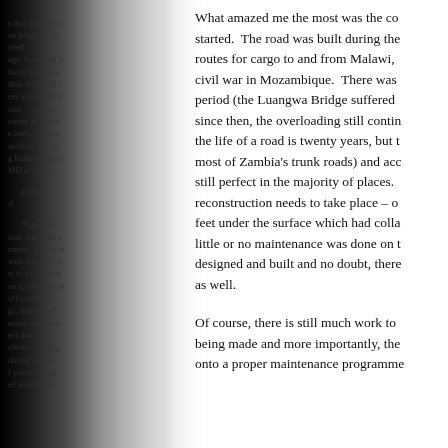What amazed me the most was the condition of the road when work started. The road was built during the 1970s to provide alternative routes for cargo to and from Malawi, when there was a particularly civil war in Mozambique. There was a lot of overloading during this period (the Luangwa Bridge suffered major damage as a result) and since then, the overloading still continues. Usually, the design life of the life of a road is twenty years, but this road (like most of Zambia's trunk roads) and according to one engineer, was still perfect in the majority of places. This tells me that major reconstruction needs to take place – one metre or more, to find the base feet under the surface which had collapsed or corroded over years when little or no maintenance was done on the road since it was first designed and built and no doubt, there were some design flaws as well.
Of course, there is still much work to be done, progress is still being made and more importantly, the road is being placed back onto a proper maintenance programme.